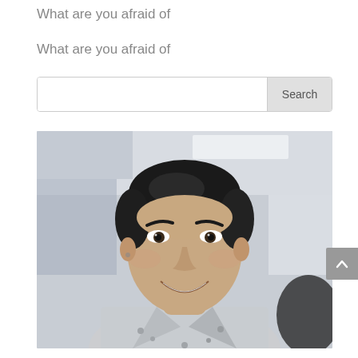What are you afraid of
What are you afraid of
[Figure (screenshot): Search bar with text input field and a Search button on the right]
[Figure (photo): A smiling young Asian man in a light gray collared shirt with small embroidered pattern, photographed indoors with fluorescent lights visible in background]